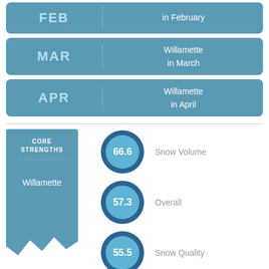FEB - Willamette in February
MAR - Willamette in March
APR - Willamette in April
[Figure (infographic): Core Strengths banner for Willamette with three score circles: Snow Volume 66.6, Overall 57.3, Snow Quality 55.5]